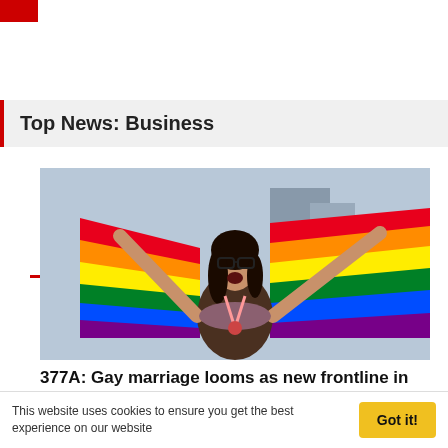[Figure (logo): Red square logo in top left corner]
Top News: Business
24h   7 days   30 days
[Figure (photo): A woman holding a rainbow Pride flag aloft, cheering, with buildings in background]
377A: Gay marriage looms as new frontline in Singapore battle for LGBT rights
Business   about 12 hours ago
This website uses cookies to ensure you get the best experience on our website